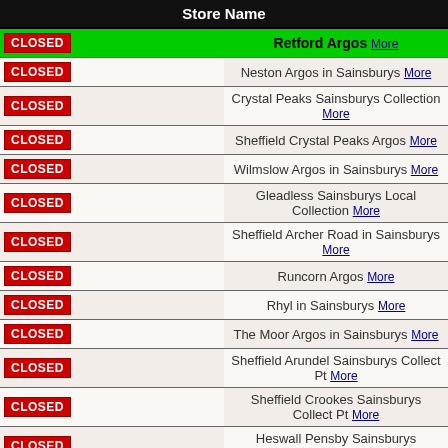|  | Store Name |
| --- | --- |
| CLOSED | Retford Argos More |
| CLOSED | Neston Argos in Sainsburys More |
| CLOSED | Crystal Peaks Sainsburys Collection More |
| CLOSED | Sheffield Crystal Peaks Argos More |
| CLOSED | Wilmslow Argos in Sainsburys More |
| CLOSED | Gleadless Sainsburys Local Collection More |
| CLOSED | Sheffield Archer Road in Sainsburys More |
| CLOSED | Runcorn Argos More |
| CLOSED | Rhyl in Sainsburys More |
| CLOSED | The Moor Argos in Sainsburys More |
| CLOSED | Sheffield Arundel Sainsburys Collect Pt More |
| CLOSED | Sheffield Crookes Sainsburys Collect Pt More |
| CLOSED | Heswall Pensby Sainsburys Collection Pt More |
| CLOSED | Gainsborough Argos and EE More |
| CLOSED | Stockton Heath Sainsburys Collection More |
| CLOSED | Altrincham Argos in Sainsburys More |
| CLOSED | Sheffield Meadowhall Argos More |
| CLOSED | Liverpool Woolton Argos in Sainsburys More |
| CLOSED | Wadsley Bridge Sainsburys Collect More |
| CLOSED | Birkenhead Argos in Sainsburys More |
| CLOSED | Warrington Cockhedge Centre More |
| CLOSED | Warrington Sainsburys Collection Point More |